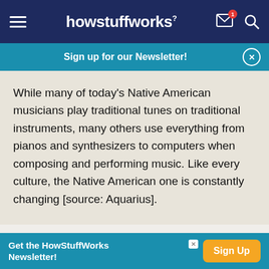howstuffworks
Sign up for our Newsletter!
While many of today's Native American musicians play traditional tunes on traditional instruments, many others use everything from pianos and synthesizers to computers when composing and performing music. Like every culture, the Native American one is constantly changing [source: Aquarius].
Lots More Information
Get the HowStuffWorks Newsletter!